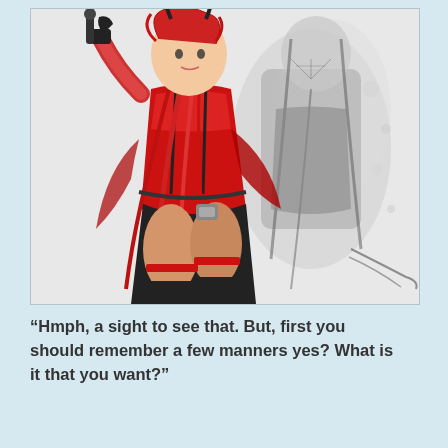[Figure (illustration): Anime-style illustration of two female characters. The foreground character wears a red outfit with black accents, red and black hair, and holds a weapon. The background character is rendered in grayscale/monochrome with long dark hair and a dark dress.]
“Hmph, a sight to see that. But, first you should remember a few manners yes? What is it that you want?”